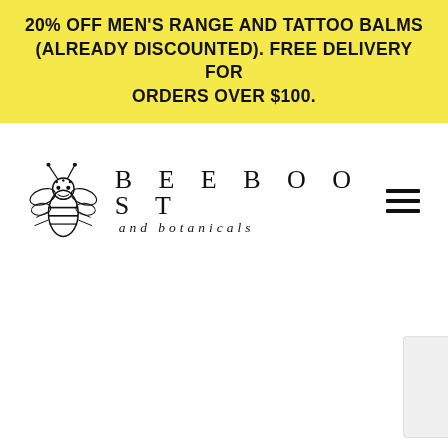20% OFF MEN'S RANGE AND TATTOO BALMS (ALREADY DISCOUNTED). FREE DELIVERY FOR ORDERS OVER $100.
[Figure (logo): Beeboost and botanicals logo: illustrated bee on the left, text 'BEEBOOST and botanicals' on the right]